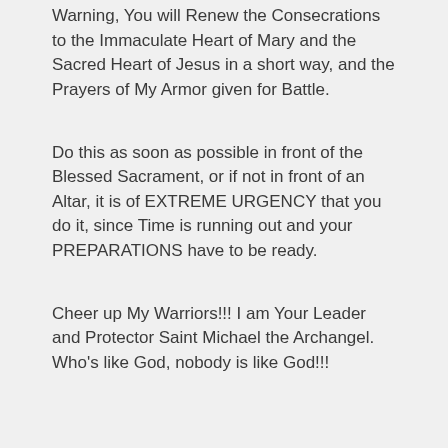Warning, You will Renew the Consecrations to the Immaculate Heart of Mary and the Sacred Heart of Jesus in a short way, and the Prayers of My Armor given for Battle.
Do this as soon as possible in front of the Blessed Sacrament, or if not in front of an Altar, it is of EXTREME URGENCY that you do it, since Time is running out and your PREPARATIONS have to be ready.
Cheer up My Warriors!!! I am Your Leader and Protector Saint Michael the Archangel. Who's like God, nobody is like God!!!